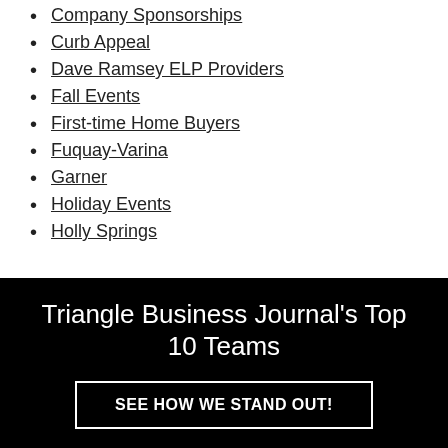Company Sponsorships
Curb Appeal
Dave Ramsey ELP Providers
Fall Events
First-time Home Buyers
Fuquay-Varina
Garner
Holiday Events
Holly Springs
Triangle Business Journal's Top 10 Teams
SEE HOW WE STAND OUT!